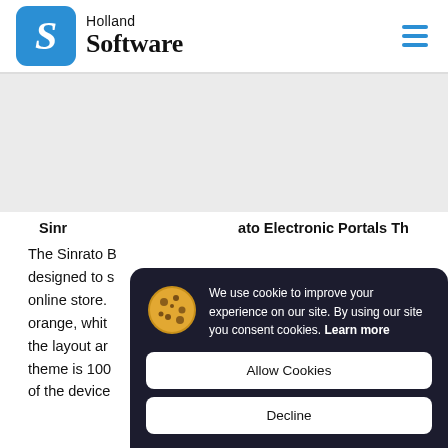Holland Software
[Figure (screenshot): Cookie consent overlay on Holland Software website. Shows cookie emoji icon with text: 'We use cookie to improve your experience on our site. By using our site you consent cookies. Learn more'. Buttons: 'Allow Cookies' and 'Decline'.]
Sinrato Electronic Portals Th...
The Sinrato B... designed to s... online store. orange, whit... the layout ar... theme is 100... of the device...